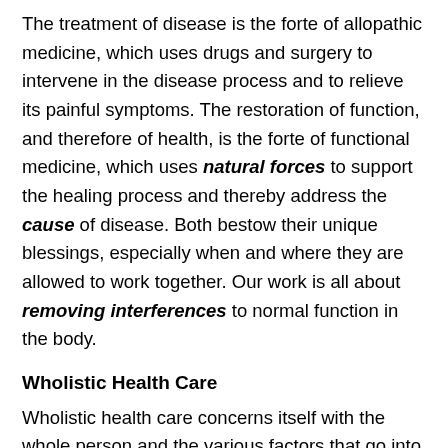The treatment of disease is the forte of allopathic medicine, which uses drugs and surgery to intervene in the disease process and to relieve its painful symptoms. The restoration of function, and therefore of health, is the forte of functional medicine, which uses natural forces to support the healing process and thereby address the cause of disease. Both bestow their unique blessings, especially when and where they are allowed to work together. Our work is all about removing interferences to normal function in the body.
Wholistic Health Care
Wholistic health care concerns itself with the whole person and the various factors that go into manifesting healthy function in the body. For example, Chiropractic concerns itself with the correction of nerve impingement in the spine